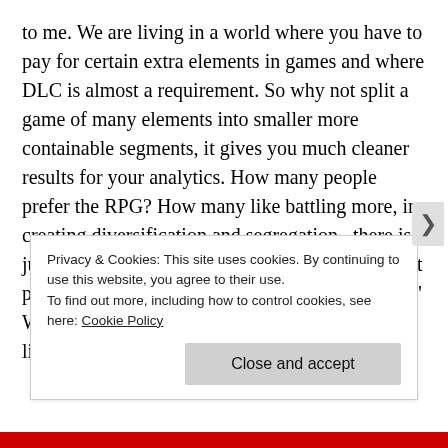to me. We are living in a world where you have to pay for certain extra elements in games and where DLC is almost a requirement. So why not split a game of many elements into smaller more containable segments, it gives you much cleaner results for your analytics. How many people prefer the RPG? How many like battling more, in creating diversification and segregation , there is just so much more room for improvement without polarising the other side. 'We want harder battles!' Well making Pokémon harder will make it less likely to be bought by kids, thats a big part of the
Privacy & Cookies: This site uses cookies. By continuing to use this website, you agree to their use.
To find out more, including how to control cookies, see here: Cookie Policy